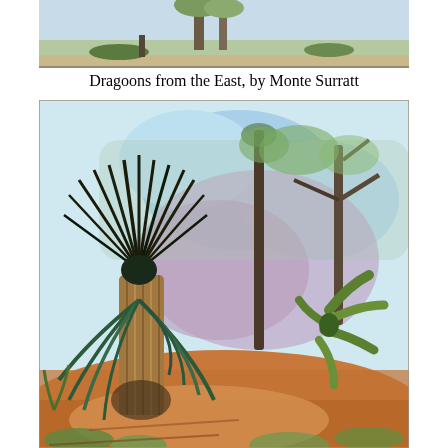[Figure (illustration): Top portion of a watercolor painting showing a desert/arid landscape with trees and vegetation, partially cropped at top of page.]
Dragoons from the East, by Monte Surratt
[Figure (illustration): Watercolor painting titled 'Dragoons from the East' by Monte Surratt, depicting a desert landscape with a large yucca or palm-like plant in the foreground left, bare trees in the background, cacti and desert shrubs on the right, and colorful washes of blue, purple, orange, and green suggesting sky, hills, and ground.]